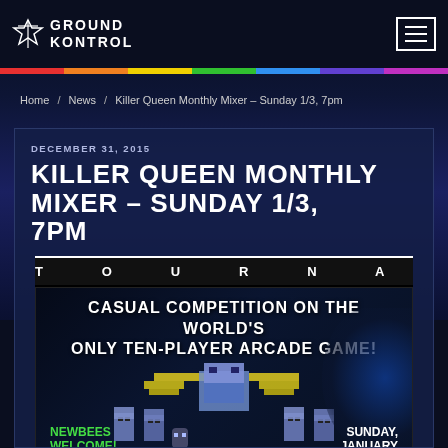GROUND KONTROL
Home / News / Killer Queen Monthly Mixer – Sunday 1/3, 7pm
DECEMBER 31, 2015
KILLER QUEEN MONTHLY MIXER – SUNDAY 1/3, 7PM
[Figure (photo): Killer Queen arcade game tournament promotional image showing pixel art characters, text reading CASUAL COMPETITION ON THE WORLD'S ONLY TEN-PLAYER ARCADE GAME!, NEWBEES WELCOME! FREE! on the left, SUNDAY JANUARY 3RD on the right, over a dark blue game background with a TOURNAMENT header bar.]